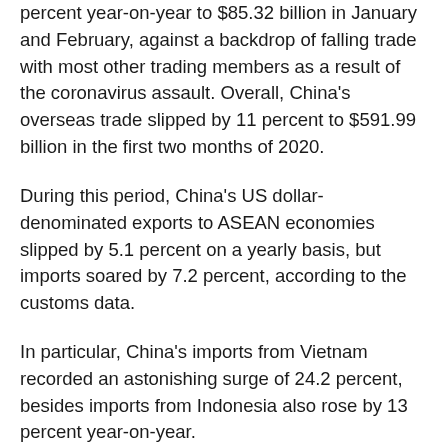percent year-on-year to $85.32 billion in January and February, against a backdrop of falling trade with most other trading members as a result of the coronavirus assault. Overall, China's overseas trade slipped by 11 percent to $591.99 billion in the first two months of 2020.
During this period, China's US dollar-denominated exports to ASEAN economies slipped by 5.1 percent on a yearly basis, but imports soared by 7.2 percent, according to the customs data.
In particular, China's imports from Vietnam recorded an astonishing surge of 24.2 percent, besides imports from Indonesia also rose by 13 percent year-on-year.
By the end of 2019, ASEAN was China's second-largest trading partner accounting for more than $641 billion trade during the year, while the EU stood as the largest trading partner.
Xu Liping, director of the Center for Southeast Asian Studies at the Chinese Academy of Social Sciences in Beijing, said a lot of Chinese and multinational